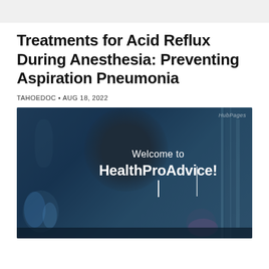Treatments for Acid Reflux During Anesthesia: Preventing Aspiration Pneumonia
TAHOEDOC • AUG 18, 2022
[Figure (photo): Dark blue-toned laboratory/medical setting photo with a dark-silhouetted figure in the center and lab equipment visible. Text overlay reads 'Welcome to HealthProAdvice!' with a cursor bar and a HubPages watermark in the upper right.]
Welcome to HealthProAdvice!